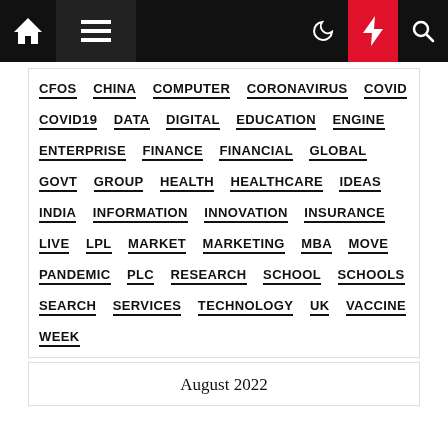Navigation bar with home, menu, moon, bolt, search icons
CFOS
CHINA
COMPUTER
CORONAVIRUS
COVID
COVID19
DATA
DIGITAL
EDUCATION
ENGINE
ENTERPRISE
FINANCE
FINANCIAL
GLOBAL
GOVT
GROUP
HEALTH
HEALTHCARE
IDEAS
INDIA
INFORMATION
INNOVATION
INSURANCE
LIVE
LPL
MARKET
MARKETING
MBA
MOVE
PANDEMIC
PLC
RESEARCH
SCHOOL
SCHOOLS
SEARCH
SERVICES
TECHNOLOGY
UK
VACCINE
WEEK
August 2022